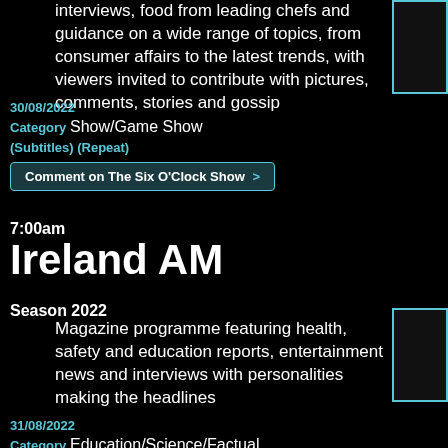interviews, food from leading chefs and guidance on a wide range of topics, from consumer affairs to the latest trends, with viewers invited to contribute with pictures, comments, stories and gossip
30/08/2022
Category Show/Game Show
(Subtitles) (Repeat)
Comment on The Six O'Clock Show
7:00am
Ireland AM
Season 2022
Magazine programme featuring health, safety and education reports, entertainment news and interviews with personalities making the headlines
31/08/2022
Category Education/Science/Factual
(Subtitles)
Comment on Ireland AM